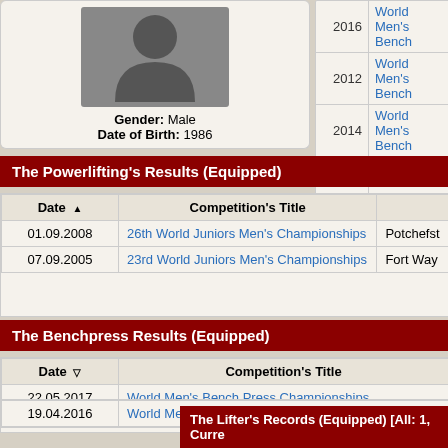[Figure (photo): Profile photo placeholder silhouette of an athlete]
Gender: Male
Date of Birth: 1986
| Year | Competition |
| --- | --- |
| 2016 | World Men's Bench |
| 2012 | World Men's Bench |
| 2014 | World Men's Bench |
| 2013 | World Men's Bench |
The Powerlifting's Results (Equipped)
| Date | Competition's Title | Location |
| --- | --- | --- |
| 01.09.2008 | 26th World Juniors Men's Championships | Potchefst |
| 07.09.2005 | 23rd World Juniors Men's Championships | Fort Way |
The Benchpress Results (Equipped)
| Date | Competition's Title |
| --- | --- |
| 22.05.2017 | World Men's Bench Press Championships |
| 19.04.2016 | World Men's Bench Press Championships |
| 15.05.2015 | World Men's Bench Press Championships |
| 15.05.2014 | World Men's Bench Press Championships |
| 17.05.2013 | World Men's Bench Press Championships |
| 19.05.2012 | World Men's Bench Press Championships |
| 24.05.2011 | World Open Men's Bench Press Championships |
The Lifter's Records (Equipped) [All: 1, Curre